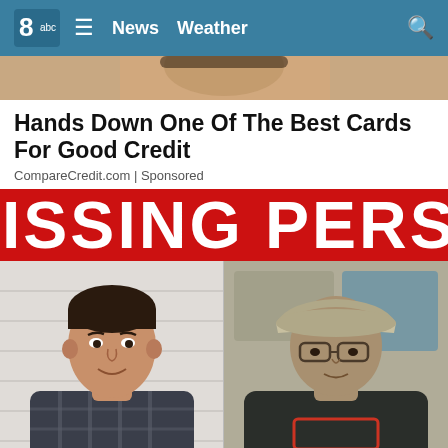8abc | ≡ | News | Weather | 🔍
[Figure (photo): Partial photo of a person, cropped at top, serving as advertisement image background]
Hands Down One Of The Best Cards For Good Credit
CompareCredit.com | Sponsored
[Figure (photo): Missing Person red banner with white text reading 'ISSING PERSON' (partially cropped)]
[Figure (photo): Two side-by-side photos of young males associated with a missing persons report. Left: teenage boy in plaid flannel shirt with dark hair. Right: younger boy wearing a baseball cap and dark hoodie.]
Police execute search warrant on property of